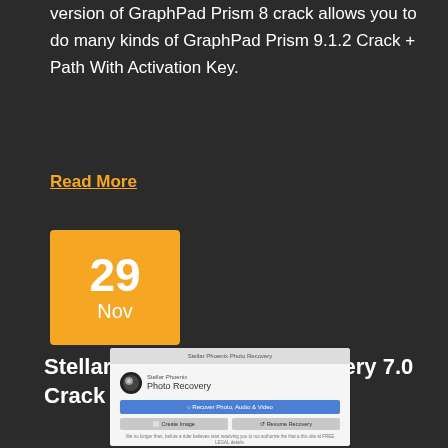version of GraphPad Prism 8 crack allows you to do many kinds of GraphPad Prism 9.1.2 Crack + Path With Activation Key.
Read More
29 Nov
Stellar Phoenix Photo Recovery 7.0 Crack + Activation Key Free
[Figure (screenshot): Screenshot of Stellar Phoenix Photo Recovery application window showing the app logo, a blue 'Recover Photo, Audio & Video' button, and two gray buttons labeled 'Create Image' and 'Resume Recovery']